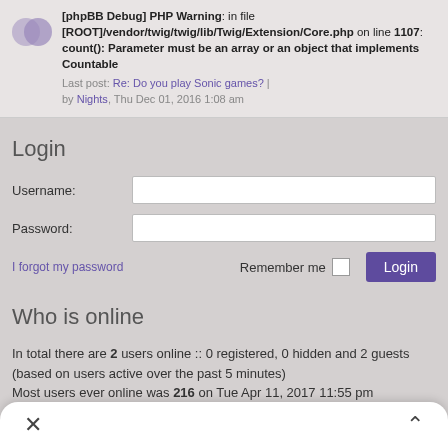[phpBB Debug] PHP Warning: in file [ROOT]/vendor/twig/twig/lib/Twig/Extension/Core.php on line 1107: count(): Parameter must be an array or an object that implements Countable
Last post: Re: Do you play Sonic games? | by Nights, Thu Dec 01, 2016 1:08 am
Login
Username:
Password:
I forgot my password
Remember me  Login
Who is online
In total there are 2 users online :: 0 registered, 0 hidden and 2 guests (based on users active over the past 5 minutes)
Most users ever online was 216 on Tue Apr 11, 2017 11:55 pm
Registered users: No registered users
Legend: Administrators, Global moderators, VIP
Birthdays